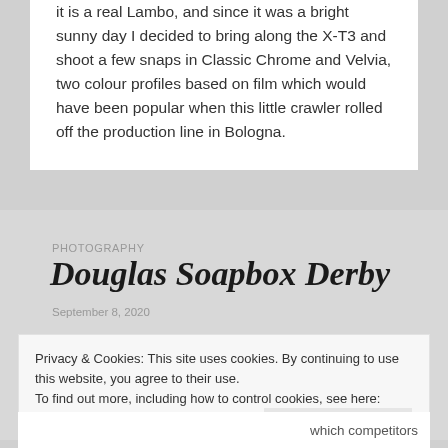it is a real Lambo, and since it was a bright sunny day I decided to bring along the X-T3 and shoot a few snaps in Classic Chrome and Velvia, two colour profiles based on film which would have been popular when this little crawler rolled off the production line in Bologna.
PHOTOGRAPHY
Douglas Soapbox Derby
September 8, 2020
Privacy & Cookies: This site uses cookies. By continuing to use this website, you agree to their use.
To find out more, including how to control cookies, see here: Cookie Policy
Close and accept
which competitors